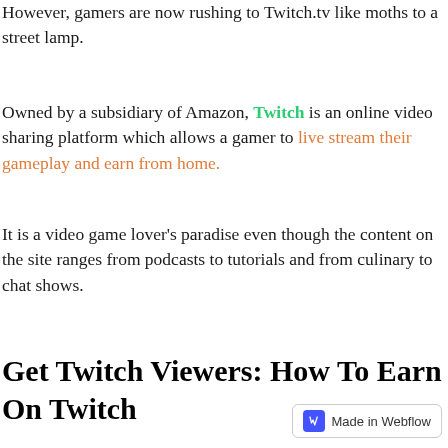However, gamers are now rushing to Twitch.tv like moths to a street lamp.
Owned by a subsidiary of Amazon, Twitch is an online video sharing platform which allows a gamer to live stream their gameplay and earn from home.
It is a video game lover's paradise even though the content on the site ranges from podcasts to tutorials and from culinary to chat shows.
Get Twitch Viewers: How To Earn On Twitch